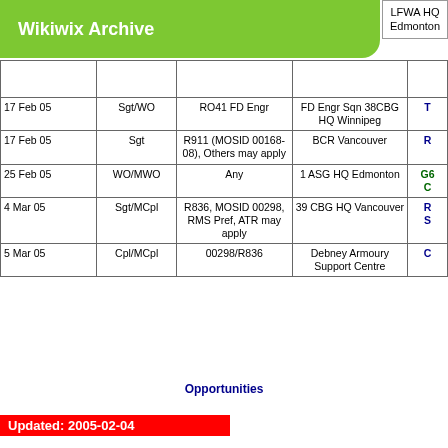Wikiwix Archive
|  |  |  | LFWA HQ Edmonton | D |
| --- | --- | --- | --- | --- |
| 17 Feb 05 | Sgt/WO | RO41 FD Engr | FD Engr Sqn 38CBG HQ Winnipeg | T |
| 17 Feb 05 | Sgt | R911 (MOSID 00168-08), Others may apply | BCR Vancouver | R |
| 25 Feb 05 | WO/MWO | Any | 1 ASG HQ Edmonton | G66 C |
| 4 Mar 05 | Sgt/MCpl | R836, MOSID 00298, RMS Pref, ATR may apply | 39 CBG HQ Vancouver | R S |
| 5 Mar 05 | Cpl/MCpl | 00298/R836 | Debney Armoury Support Centre | C |
Opportunities
Updated: 2005-02-04